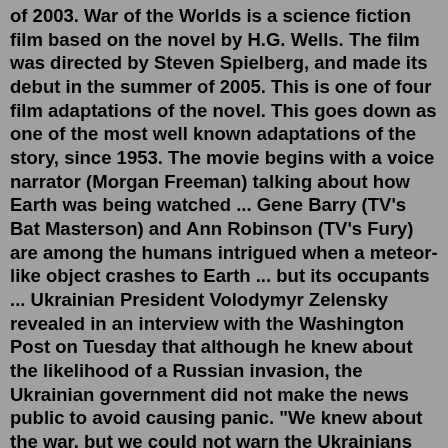of 2003. War of the Worlds is a science fiction film based on the novel by H.G. Wells. The film was directed by Steven Spielberg, and made its debut in the summer of 2005. This is one of four film adaptations of the novel. This goes down as one of the most well known adaptations of the story, since 1953. The movie begins with a voice narrator (Morgan Freeman) talking about how Earth was being watched ... Gene Barry (TV's Bat Masterson) and Ann Robinson (TV's Fury) are among the humans intrigued when a meteor-like object crashes to Earth ... but its occupants ... Ukrainian President Volodymyr Zelensky revealed in an interview with the Washington Post on Tuesday that although he knew about the likelihood of a Russian invasion, the Ukrainian government did not make the news public to avoid causing panic. "We knew about the war, but we could not warn the Ukrainians about it, otherwise, we would have lost ...The Martian invasion of Earth has begun, and it seems that nothing—neither